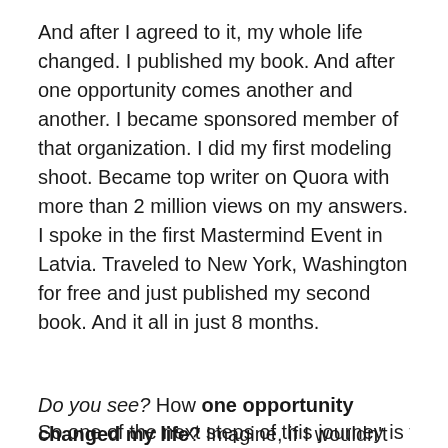And after I agreed to it, my whole life changed. I published my book. And after one opportunity comes another and another. I became sponsored member of that organization. I did my first modeling shoot. Became top writer on Quora with more than 2 million views on my answers. I spoke in the first Mastermind Event in Latvia. Traveled to New York, Washington for free and just published my second book. And it all in just 8 months.
Do you see? How one opportunity changed my life? Imagine, if I wouldn't take that one opportunity back then. Probably I would still sit in my bedroom and didn't know what to do in my life.
So one of the next steps of this journey is to make it